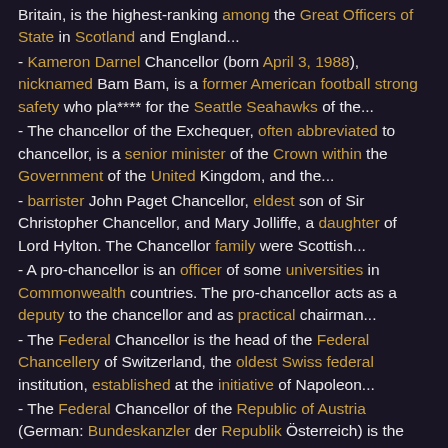Britain, is the highest-ranking among the Great Officers of State in Scotland and England...
- Kameron Darnel Chancellor (born April 3, 1988), nicknamed Bam Bam, is a former American football strong safety who pla**** for the Seattle Seahawks of the...
- The chancellor of the Exchequer, often abbreviated to chancellor, is a senior minister of the Crown within the Government of the United Kingdom, and the...
- barrister John Paget Chancellor, eldest son of Sir Christopher Chancellor, and Mary Jolliffe, a daughter of Lord Hylton. The Chancellor family were Scottish...
- A pro-chancellor is an officer of some universities in Commonwealth countries. The pro-chancellor acts as a deputy to the chancellor and as practical chairman...
- The Federal Chancellor is the head of the Federal Chancellery of Switzerland, the oldest Swiss federal institution, established at the initiative of Napoleon...
- The Federal Chancellor of the Republic of Austria (German: Bundeskanzler der Republik Österreich) is the head of government of the Republic of Austria...